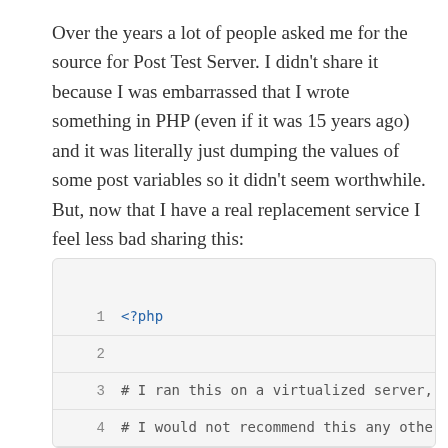Over the years a lot of people asked me for the source for Post Test Server. I didn't share it because I was embarrassed that I wrote something in PHP (even if it was 15 years ago) and it was literally just dumping the values of some post variables so it didn't seem worthwhile. But, now that I have a real replacement service I feel less bad sharing this:
1  <?php
2  
3  # I ran this on a virtualized server, so acc
4  # I would not recommend this any other way.
5  $basedir = "/home/henryci/posttestserver.com
6  $filedir = "/home/henryci/posttestserver.com
7  ...